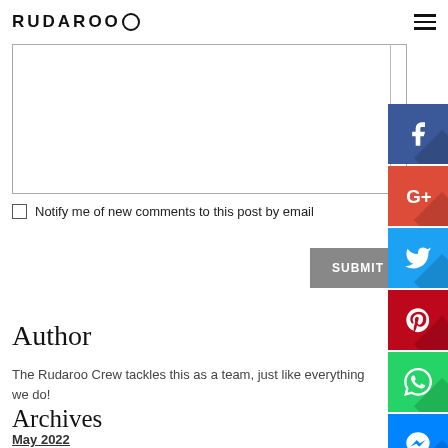RUDAROO
Notify me of new comments to this post by email
SUBMIT
Author
The Rudaroo Crew tackles this as a team, just like everything we do!
Archives
May 2022